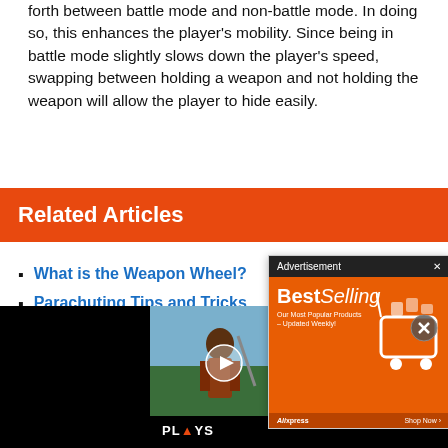forth between battle mode and non-battle mode. In doing so, this enhances the player's mobility. Since being in battle mode slightly slows down the player's speed, swapping between holding a weapon and not holding the weapon will allow the player to hide easily.
Related Articles
What is the Weapon Wheel?
Parachuting Tips and Tricks
Game Modes
[Figure (screenshot): Advertisement overlay showing AliExpress BestSelling products ad with shopping cart graphic on orange background]
[Figure (screenshot): Video player bar at bottom showing two game screenshots (samurai warrior and futuristic soldier) with play button and PLAYS logo]